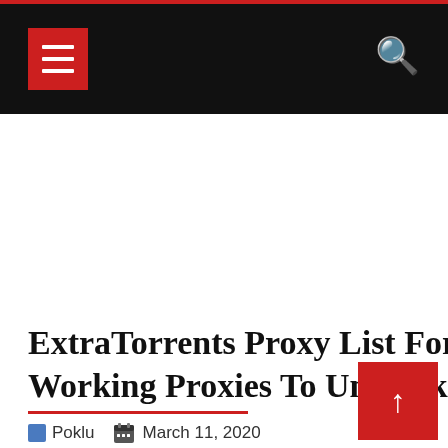Navigation header with menu icon and search icon
[Figure (other): Large white/blank advertisement area below header]
ExtraTorrents Proxy List For 2020 [100% Working Proxies To Unblock Extratorrents]
Poklu   March 11, 2020